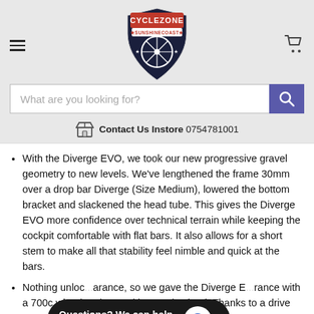[Figure (logo): Cyclezone Sunshine Coast shield logo with bicycle wheel]
What are you looking for?
Contact Us Instore 0754781001
With the Diverge EVO, we took our new progressive gravel geometry to new levels. We've lengthened the frame 30mm over a drop bar Diverge (Size Medium), lowered the bottom bracket and slackened the head tube. This gives the Diverge EVO more confidence over technical terrain while keeping the cockpit comfortable with flat bars. It also allows for a short stem to make all that stability feel nimble and quick at the bars.
Nothing unloc...arance, so we gave the Diverge E...rance with a 700c wheel and 2.1" with a 650b wheel. Thanks to a drive side chain
[Figure (screenshot): Chat widget overlay: 'Questions? We can help. Chat with us now.' with blue chat bubble icon]